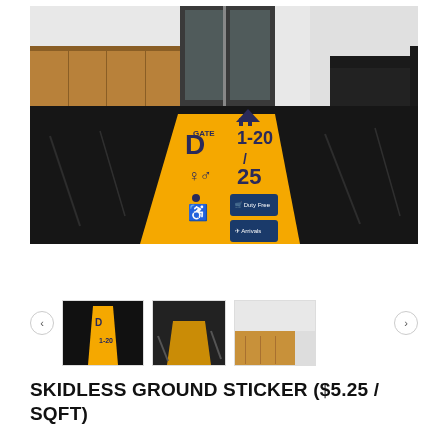[Figure (photo): Airport terminal floor with a large yellow directional sticker showing Gate D, arrows pointing to gates 1-20 and 25, accessibility symbols, and dark blue wayfinding signs on a reflective black floor with wooden reception desk and glass doors in background]
[Figure (photo): Thumbnail: aerial/top-down view of yellow floor sticker in dark corridor]
[Figure (photo): Thumbnail: close-up of dark reflective floor with yellow sticker]
[Figure (photo): Thumbnail: bright interior space with wooden furniture and reception area]
SKIDLESS GROUND STICKER ($5.25 / SQFT)